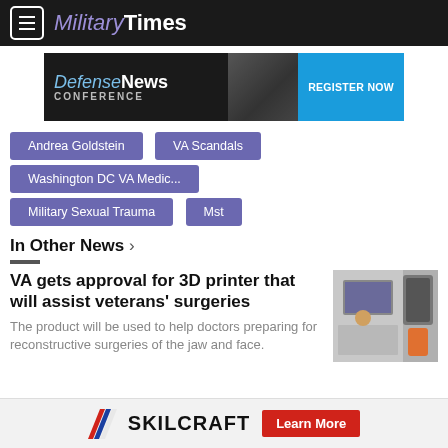Military Times
[Figure (other): Defense News Conference – Register Now ad banner]
Andrea Goldstein
VA Scandals
Washington DC VA Medic...
Military Sexual Trauma
Mst
In Other News >
VA gets approval for 3D printer that will assist veterans' surgeries
The product will be used to help doctors preparing for reconstructive surgeries of the jaw and face.
[Figure (photo): Person working at a computer with a 3D printer or medical imaging equipment]
SKILCRAFT – Learn More